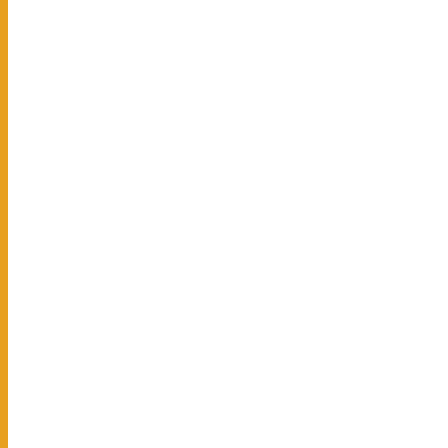| No. | Date | Title |
| --- | --- | --- |
| 309. | 06/07/2019 | Result of PU... |
| 310. | 02/07/2019 | CRoss Obje... Entrance Te... |
| 311. | 02/07/2019 | Response to... objections in... |
| 312. | 29/06/2019 | Result of PU... |
| 313. | 28/06/2019 | press releas... |
| 314. | 27/06/2019 | Final Answer... |
| 315. | 27/06/2019 | Press Relea... |
| 316. | 27/06/2019 | Answer Key... |
| 317. | 27/06/2019 | Question Bo... |
| 318. | 26/06/2019 | Result of BA... |
| 319. | 22/06/2019 | Cross Objec... |
| 320. | 22/06/2019 | Response to... objections in... |
| 321. | 21/06/2019 | Press releas... BA/BCom LL... |
| 322. | 21/06/2019 | Response to... objections in... |